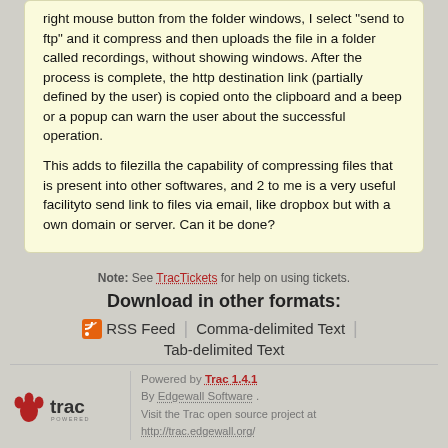right mouse button from the folder windows, I select "send to ftp" and it compress and then uploads the file in a folder called recordings, without showing windows. After the process is complete, the http destination link (partially defined by the user) is copied onto the clipboard and a beep or a popup can warn the user about the successful operation.

This adds to filezilla the capability of compressing files that is present into other softwares, and 2 to me is a very useful facilityto send link to files via email, like dropbox but with a own domain or server. Can it be done?
Note: See TracTickets for help on using tickets.
Download in other formats:
RSS Feed | Comma-delimited Text | Tab-delimited Text
[Figure (logo): Trac Powered logo with paw print icon]
Powered by Trac 1.4.1
By Edgewall Software .
Visit the Trac open source project at http://trac.edgewall.org/